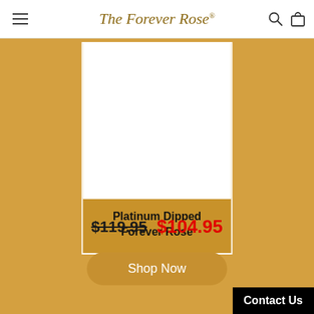The Forever Rose®
[Figure (photo): Product photo of Platinum Dipped Forever Rose — white area (product image placeholder)]
Platinum Dipped Forever Rose
$119.95  $104.95
Shop Now
Contact Us